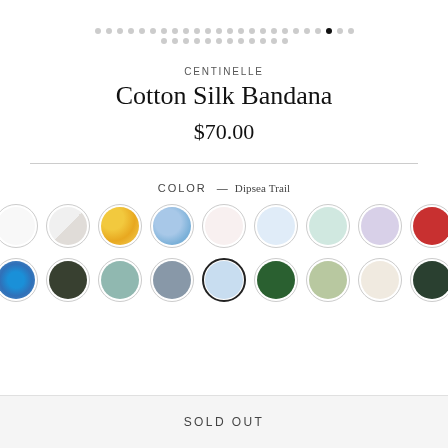[Figure (other): Pagination dots row 1 and row 2, one dot is active (black)]
CENTINELLE
Cotton Silk Bandana
$70.00
COLOR — Dipsea Trail
[Figure (other): Two rows of circular color swatches. Row 1: white, off-white/diagonal, yellow floral, blue floral, pink floral, light blue floral, green floral, lavender, red floral. Row 2: blue circle, black floral, teal floral, gray floral, dipsea (selected/outlined), green holiday, sage check, cream dog, dark green floral.]
SOLD OUT